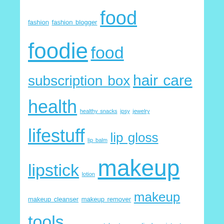fashion fashion blogger food foodie food subscription box hair care health healthy snacks ipsy jewelry lifestuff lip balm lip gloss lipstick lotion makeup makeup cleanser makeup remover makeup tools mascara matcha tea medical assistant nail polish natural organic organic matcha oznaturals oz naturals pinchme pinch me recipe review samples sephora serum skin care smashbox sundayfacialmaskday tags tarte tarte cosmetics tea treatsie sweets trytheworld try the world ulta valentia vegan vitamin c
Category Cloud
accessories art awards bath & body beauty beautyboxes books clothing costume custom made dresses empties face fashion fitness food foodie hacks hair health healthy eating home decor jewelry Keto/LowCarb lifestuff makeup